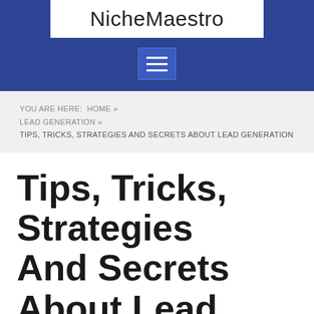NicheMaestro
[Figure (other): Hamburger menu icon (three horizontal white lines on a blue square background)]
YOU ARE HERE:  HOME »  LEAD GENERATION »  TIPS, TRICKS, STRATEGIES AND SECRETS ABOUT LEAD GENERATION
Tips, Tricks, Strategies And Secrets About Lead